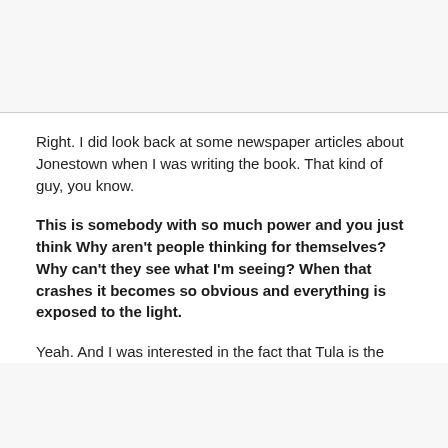Right. I did look back at some newspaper articles about Jonestown when I was writing the book. That kind of guy, you know.
This is somebody with so much power and you just think Why aren't people thinking for themselves? Why can't they see what I'm seeing? When that crashes it becomes so obvious and everything is exposed to the light.
Yeah. And I was interested in the fact that Tula is the